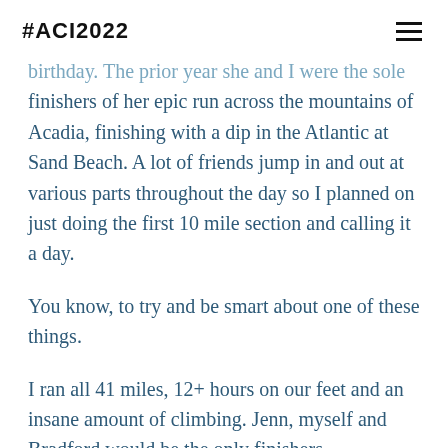#ACI2022
birthday. The prior year she and I were the sole finishers of her epic run across the mountains of Acadia, finishing with a dip in the Atlantic at Sand Beach. A lot of friends jump in and out at various parts throughout the day so I planned on just doing the first 10 mile section and calling it a day.
You know, to try and be smart about one of these things.
I ran all 41 miles, 12+ hours on our feet and an insane amount of climbing. Jenn, myself and Bradford would be the only finishers.
My knee hasn't been an issue since then.